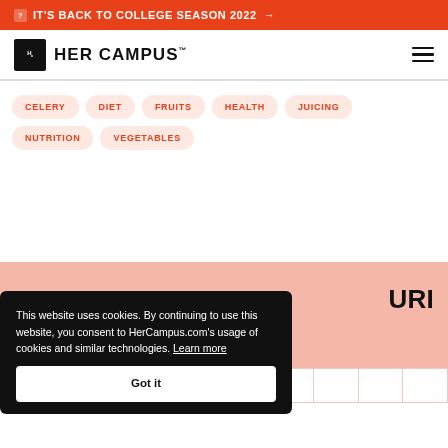IT'S BACK TO COLLEGE SEASON 2022 →
[Figure (logo): Her Campus logo with Hc icon and HER CAMPUS text]
CELERY
DIET
FRUITS
HEALTH
JUICING
NUTRITION
VEGETABLES
URI
This website uses cookies. By continuing to use this website, you consent to HerCampus.com's usage of cookies and similar technologies. Learn more
Got it